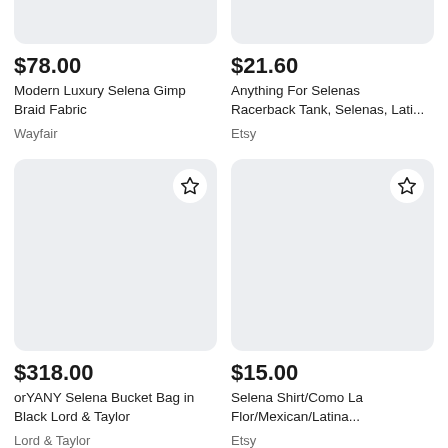[Figure (photo): Top portion of product image card for Modern Luxury Selena Gimp Braid Fabric, cropped at top]
$78.00
Modern Luxury Selena Gimp Braid Fabric
Wayfair
[Figure (photo): Top portion of product image card for Anything For Selenas Racerback Tank, cropped at top]
$21.60
Anything For Selenas Racerback Tank, Selenas, Lati...
Etsy
[Figure (photo): Product image card for orYANY Selena Bucket Bag in Black Lord & Taylor, light gray placeholder with star bookmark button]
$318.00
orYANY Selena Bucket Bag in Black Lord & Taylor
Lord & Taylor
[Figure (photo): Product image card for Selena Shirt/Como La Flor/Mexican/Latina..., light gray placeholder with star bookmark button]
$15.00
Selena Shirt/Como La Flor/Mexican/Latina...
Etsy